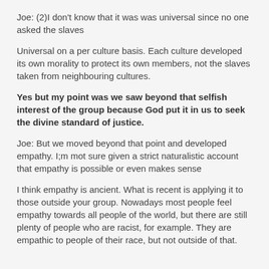Joe: (2)I don't know that it was was universal since no one asked the slaves
Universal on a per culture basis. Each culture developed its own morality to protect its own members, not the slaves taken from neighbouring cultures.
Yes but my point was we saw beyond that selfish interest of the group because God put it in us to seek the divine standard of justice.
Joe: But we moved beyond that point and developed empathy. I;m mot sure given a strict naturalistic account that empathy is possible or even makes sense
I think empathy is ancient. What is recent is applying it to those outside your group. Nowadays most people feel empathy towards all people of the world, but there are still plenty of people who are racist, for example. They are empathic to people of their race, but not outside of that.